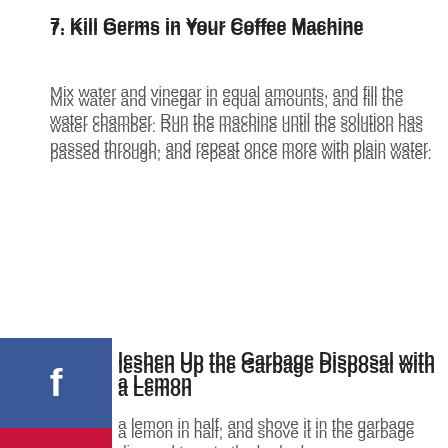7. Kill Germs in Your Coffee Machine
Mix water and vinegar in equal amounts, and fill the water chamber. Run the machine until the solution has passed through, and repeat once more with plain water.
leshen Up the Garbage Disposal with a Lemon
a lemon in half, and shove it in the garbage disposal to nate the bad odors.
lean Baking Trays and Dirty Pans with Lemon
To clean the grease off the pots, pans, dishes, and cookie sheets, soak them in some hot water with fresh lemon and baking soda.
10. Fix Burnt Pots with Baking Soda and Vinegar
Fill the burnt pan with water and two cups of vinegar, boil the